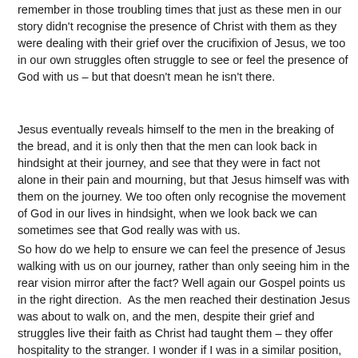remember in those troubling times that just as these men in our story didn't recognise the presence of Christ with them as they were dealing with their grief over the crucifixion of Jesus, we too in our own struggles often struggle to see or feel the presence of God with us – but that doesn't mean he isn't there.
Jesus eventually reveals himself to the men in the breaking of the bread, and it is only then that the men can look back in hindsight at their journey, and see that they were in fact not alone in their pain and mourning, but that Jesus himself was with them on the journey. We too often only recognise the movement of God in our lives in hindsight, when we look back we can sometimes see that God really was with us.
So how do we help to ensure we can feel the presence of Jesus walking with us on our journey, rather than only seeing him in the rear vision mirror after the fact? Well again our Gospel points us in the right direction.  As the men reached their destination Jesus was about to walk on, and the men, despite their grief and struggles live their faith as Christ had taught them – they offer hospitality to the stranger. I wonder if I was in a similar position, dealing with grief and struggling with loss, if I would have invited the stranger to come and stay with